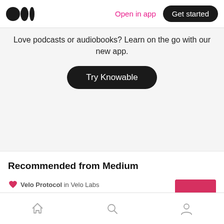Medium logo | Open in app | Get started
Love podcasts or audiobooks? Learn on the go with our new app.
Try Knowable
Recommended from Medium
Velo Protocol in Velo Labs
Velo Labs Partners with MaiCoin
[Figure (other): Thumbnail image with pink/red background showing VELO x MaiCoin branding]
Home | Search | Profile navigation icons